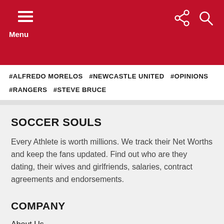Menu
#ALFREDO MORELOS  #NEWCASTLE UNITED  #OPINIONS  #RANGERS  #STEVE BRUCE
SOCCER SOULS
Every Athlete is worth millions. We track their Net Worths and keep the fans updated. Find out who are they dating, their wives and girlfriends, salaries, contract agreements and endorsements.
COMPANY
About Us
Meet Our Team